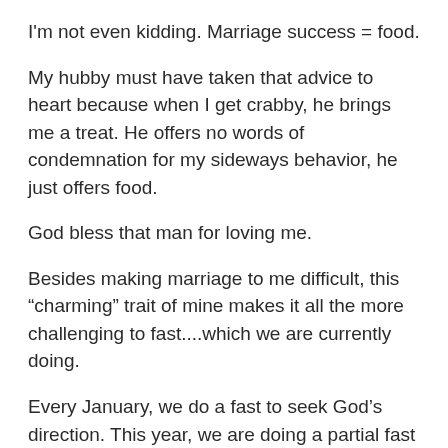I'm not even kidding. Marriage success = food.
My hubby must have taken that advice to heart because when I get crabby, he brings me a treat. He offers no words of condemnation for my sideways behavior, he just offers food.
God bless that man for loving me.
Besides making marriage to me difficult, this “charming” trait of mine makes it all the more challenging to fast....which we are currently doing.
Every January, we do a fast to seek God’s direction. This year, we are doing a partial fast – skipping one meal a day and spending a half an hour in the Word and in prayer instead. During that time, we praise and thank